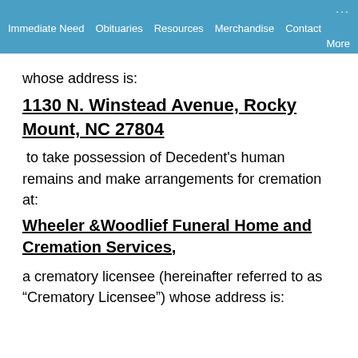Immediate Need   Obituaries   Resources   Merchandise   Contact   More
whose address is:
1130 N. Winstead Avenue, Rocky Mount, NC 27804
to take possession of Decedent's human remains and make arrangements for cremation at:
Wheeler &Woodlief Funeral Home and Cremation Services,
a crematory licensee (hereinafter referred to as “Crematory Licensee”) whose address is: